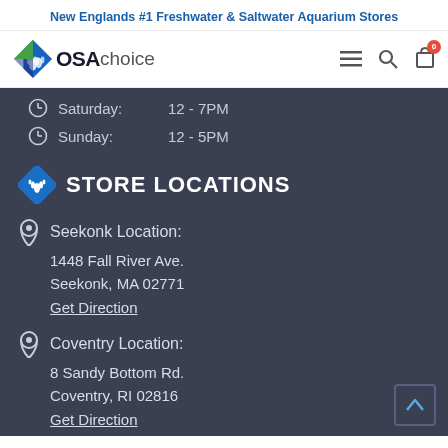New Englands #1 Freshwater & Saltwater Aquarium Stores
[Figure (logo): OSAchoice logo with green and blue diamond shapes and text]
Saturday:   12 - 7PM
Sunday:     12 - 5PM
STORE LOCATIONS
Seekonk Location:
1448 Fall River Ave.
Seekonk, MA 02771
Get Direction
Coventry Location:
8 Sandy Bottom Rd.
Coventry, RI 02816
Get Direction